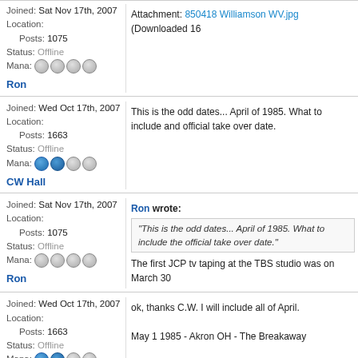Joined: Sat Nov 17th, 2007
Location:
Posts: 1075
Status: Offline
Mana: [icons]
Attachment: 850418 Williamson WV.jpg (Downloaded 16...
Ron
Joined: Wed Oct 17th, 2007
Location:
Posts: 1663
Status: Offline
Mana: [icons]
This is the odd dates... April of 1985. What to include and official take over date.
CW Hall
Ron wrote:
"This is the odd dates... April of 1985. What to include the official take over date."
Joined: Sat Nov 17th, 2007
Location:
Posts: 1075
Status: Offline
Mana: [icons]
The first JCP tv taping at the TBS studio was on March 30...
Ron
Joined: Wed Oct 17th, 2007
Location:
Posts: 1663
Status: Offline
Mana: [icons]
ok, thanks C.W. I will include all of April.
Spatulapup
May 1 1985 - Akron OH - The Breakaway